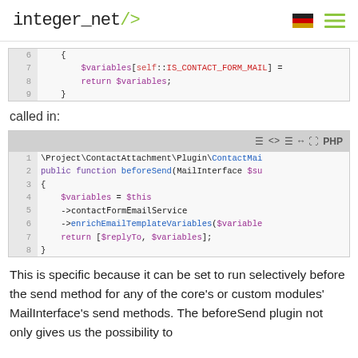integer_net/>
[Figure (screenshot): PHP code block showing lines 6-9 with $variables[self::IS_CONTACT_FORM_MAIL] = and return $variables; and closing brace]
called in:
[Figure (screenshot): PHP code block showing ContactAttachment Plugin beforeSend function with $variables = $this->contactFormEmailService->enrichEmailTemplateVariables($variables) and return [$replyTo, $variables];]
This is specific because it can be set to run selectively before the send method for any of the core's or custom modules' MailInterface's send methods. The beforeSend plugin not only gives us the possibility to